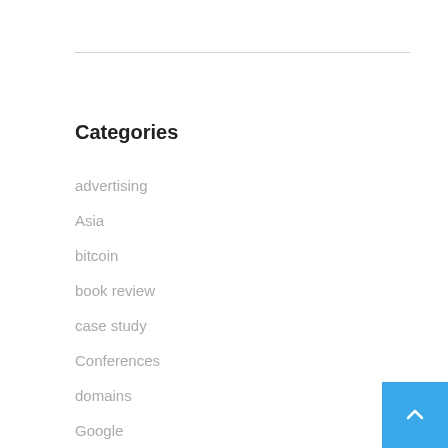Categories
advertising
Asia
bitcoin
book review
case study
Conferences
domains
Google
Google Test
International SEO
opinion